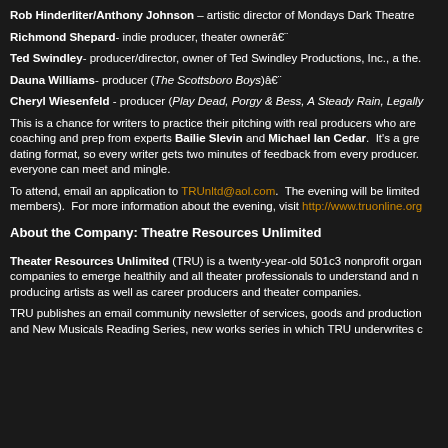Rob Hinderliter/Anthony Johnson – artistic director of Mondays Dark Theatre
Richmond Shepard- indie producer, theater ownerâ€¨
Ted Swindley- producer/director, owner of Ted Swindley Productions, Inc., a the.
Dauna Williams- producer (The Scottsboro Boys)â€¨
Cheryl Wiesenfeld - producer (Play Dead, Porgy & Bess, A Steady Rain, Legally
This is a chance for writers to practice their pitching with real producers who are coaching and prep from experts Bailie Slevin and Michael Ian Cedar. It's a gre dating format, so every writer gets two minutes of feedback from every producer. everyone can meet and mingle.
To attend, email an application to TRUnltd@aol.com. The evening will be limited members). For more information about the evening, visit http://www.truonline.org
About the Company: Theatre Resources Unlimited
Theater Resources Unlimited (TRU) is a twenty-year-old 501c3 nonprofit organ companies to emerge healthily and all theater professionals to understand and n producing artists as well as career producers and theater companies.
TRU publishes an email community newsletter of services, goods and production and New Musicals Reading Series, new works series in which TRU underwrites c